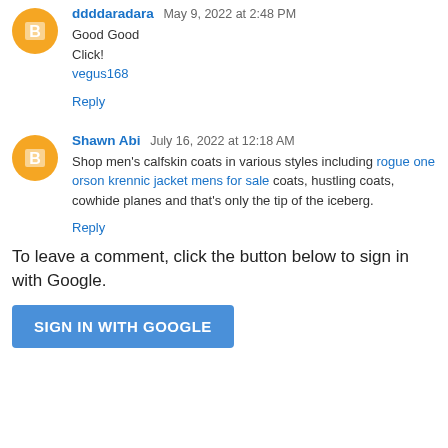ddddaradara  May 9, 2022 at 2:48 PM
Good Good
Click!
vegus168
Reply
Shawn Abi  July 16, 2022 at 12:18 AM
Shop men's calfskin coats in various styles including rogue one orson krennic jacket mens for sale coats, hustling coats, cowhide planes and that's only the tip of the iceberg.
Reply
To leave a comment, click the button below to sign in with Google.
SIGN IN WITH GOOGLE